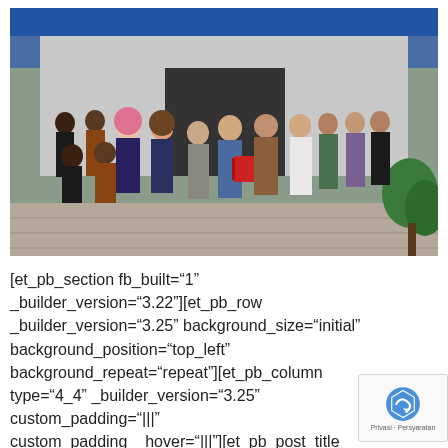[Figure (photo): Group photo of approximately 20 people standing in front of a building with a blue roof overhang. People are wearing batik and formal attire. Two women wearing hijab are visible. Green plants visible on the right side.]
[et_pb_section fb_built="1" _builder_version="3.22"][et_pb_row _builder_version="3.25" background_size="initial" background_position="top_left" background_repeat="repeat"][et_pb_column type="4_4" _builder_version="3.25" custom_padding="|||" custom_padding__hover="|||"][et_pb_post_title